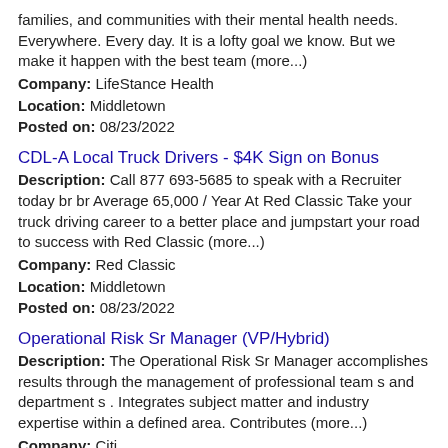families, and communities with their mental health needs. Everywhere. Every day. It is a lofty goal we know. But we make it happen with the best team (more...)
Company: LifeStance Health
Location: Middletown
Posted on: 08/23/2022
CDL-A Local Truck Drivers - $4K Sign on Bonus
Description: Call 877 693-5685 to speak with a Recruiter today br br Average 65,000 / Year At Red Classic Take your truck driving career to a better place and jumpstart your road to success with Red Classic (more...)
Company: Red Classic
Location: Middletown
Posted on: 08/23/2022
Operational Risk Sr Manager (VP/Hybrid)
Description: The Operational Risk Sr Manager accomplishes results through the management of professional team s and department s . Integrates subject matter and industry expertise within a defined area. Contributes (more...)
Company: Citi
Location: Fairfield
Posted on: 08/23/2022